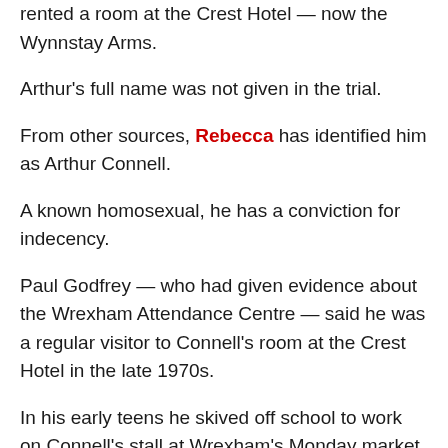rented a room at the Crest Hotel — now the Wynnstay Arms.
Arthur's full name was not given in the trial.
From other sources, Rebecca has identified him as Arthur Connell.
A known homosexual, he has a conviction for indecency.
Paul Godfrey — who had given evidence about the Wrexham Attendance Centre — said he was a regular visitor to Connell's room at the Crest Hotel in the late 1970s.
In his early teens he skived off school to work on Connell's stall at Wrexham's Monday market.
Another boy who helped was Mark Humphreys, known as